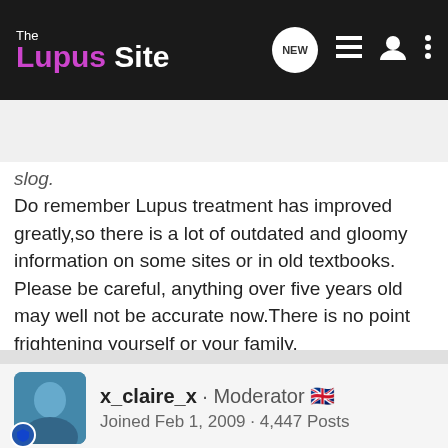[Figure (screenshot): The Lupus Site navigation bar with logo, NEW chat icon, list icon, user icon, and more icon]
[Figure (screenshot): Search Community search bar with magnifying glass icon]
slog.
Do remember Lupus treatment has improved greatly,so there is a lot of outdated and gloomy information on some sites or in old textbooks. Please be careful, anything over five years old may well not be accurate now.There is no point frightening yourself or your family.
Big Welcome,
x Lola
x_claire_x · Moderator 🇬🇧
Joined Feb 1, 2009 · 4,447 Posts